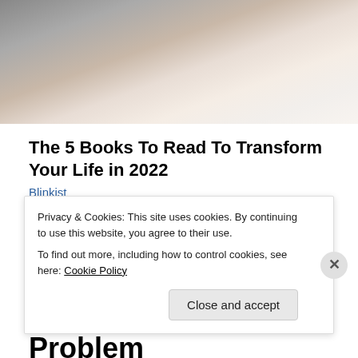[Figure (photo): Partial photo of a woman with dark hair wearing a white top, cropped to show neck and upper chest area against a grey background]
The 5 Books To Read To Transform Your Life in 2022
Blinkist
June 18, 2015   💬 23 Replies
Contradictory Authorities – the Heart of the Catholic Problem
Privacy & Cookies: This site uses cookies. By continuing to use this website, you agree to their use.
To find out more, including how to control cookies, see here: Cookie Policy
Close and accept